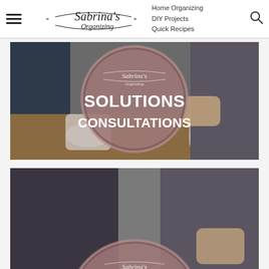Sabrina's Organizing | Home Organizing | DIY Projects | Quick Recipes
[Figure (photo): Card image showing two people having a consultation over coffee mugs on a wooden table, with a circular mauve/brown overlay containing Sabrina's Organizing logo and text SOLUTIONS CONSULTATIONS]
[Figure (photo): Partial card image showing two people in dark clothing, with a circular mauve/brown overlay containing Sabrina's Organizing logo and partial text VIRTUAL (cut off at bottom)]